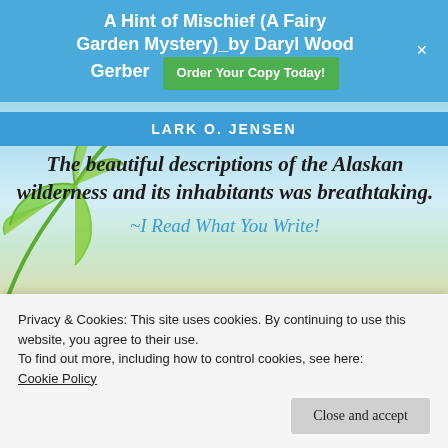[Figure (screenshot): Website screenshot showing a beach/ocean background scene with palm leaves, a blue top banner ad for a book, an author bar, a quote section, a partial book cover image, and a cookie consent popup at the bottom.]
A Hint of Mischief (A Fairy Garden Mystery)_by Daryl Wood Gerber
Order Your Copy Today!
LARK O. JENSEN
The beautiful descriptions of the Alaskan wilderness and its inhabitants was breathtaking.
~I Read What You Write!
Privacy & Cookies: This site uses cookies. By continuing to use this website, you agree to their use.
To find out more, including how to control cookies, see here:
Cookie Policy
Close and accept